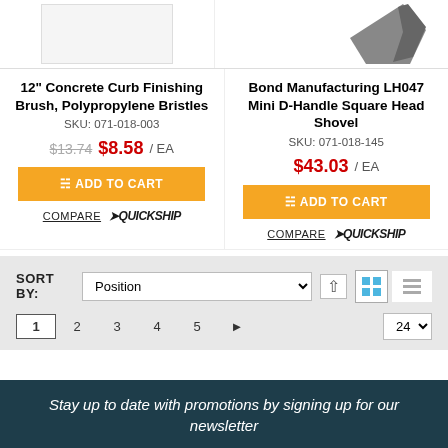[Figure (photo): Product image area for 12 inch Concrete Curb Finishing Brush]
[Figure (photo): Product image of Bond Manufacturing LH047 Mini D-Handle Square Head Shovel]
12" Concrete Curb Finishing Brush, Polypropylene Bristles
SKU: 071-018-003
$13.74  $8.58 / EA
ADD TO CART
COMPARE  QUICKSHIP
Bond Manufacturing LH047 Mini D-Handle Square Head Shovel
SKU: 071-018-145
$43.03 / EA
ADD TO CART
COMPARE  QUICKSHIP
SORT BY: Position  1 2 3 4 5 ► 24
Stay up to date with promotions by signing up for our newsletter